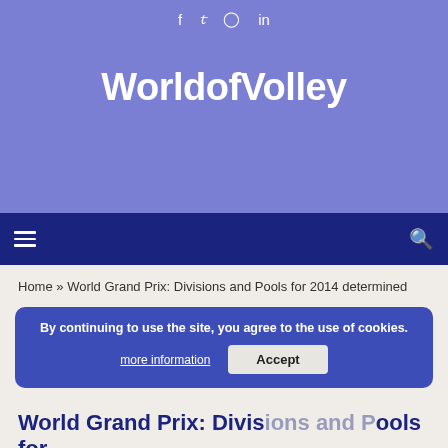f  y  ⊙  in
WorldofVolley
☰   🔍
Home » World Grand Prix: Divisions and Pools for 2014 determined
By continuing to use the site, you agree to the use of cookies.
more information   Accept
World Grand Prix: Divisions and Pools for 2014 determined